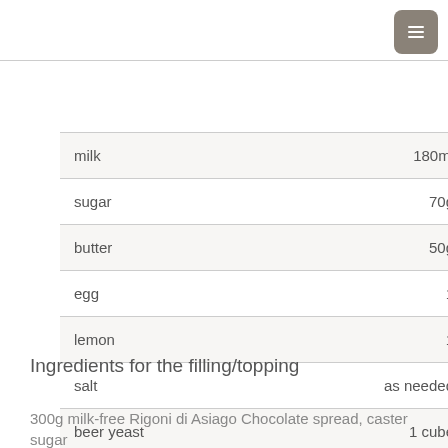| ingredient | amount |
| --- | --- |
| milk | 180ml |
| sugar | 70g |
| butter | 50g |
| egg | 1 |
| lemon | 1 |
| salt | as needed |
| beer yeast | 1 cube |
Ingredients for the filling/topping
300g milk-free Rigoni di Asiago Chocolate spread, caster sugar